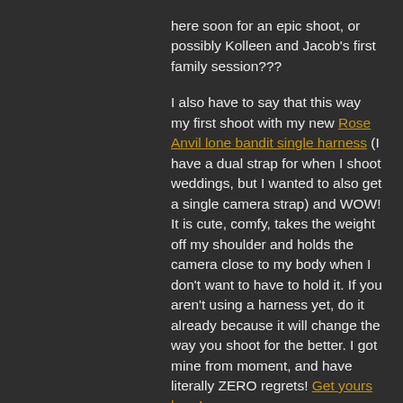here soon for an epic shoot, or possibly Kolleen and Jacob's first family session???

I also have to say that this way my first shoot with my new Rose Anvil lone bandit single harness (I have a dual strap for when I shoot weddings, but I wanted to also get a single camera strap) and WOW! It is cute, comfy, takes the weight off my shoulder and holds the camera close to my body when I don't want to have to hold it. If you aren't using a harness yet, do it already because it will change the way you shoot for the better. I got mine from moment, and have literally ZERO regrets! Get yours here!